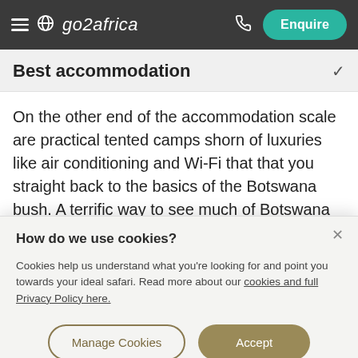go2africa – Enquire
Best accommodation
On the other end of the accommodation scale are practical tented camps shorn of luxuries like air conditioning and Wi-Fi that that you straight back to the basics of the Botswana bush. A terrific way to see much of Botswana is a mobile camping trip that starts in Maun and ends in
How do we use cookies?
Cookies help us understand what you're looking for and point you towards your ideal safari. Read more about our cookies and full Privacy Policy here.
Manage Cookies  Accept